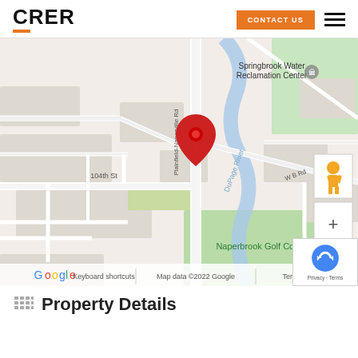CRER | CONTACT US
[Figure (map): Google Maps screenshot showing location near Plainfield-Naperville Rd, with Springbrook Water Reclamation Center to the north, DuPage River, Naperbrook Golf Course to the south, and a red location pin marker. Map data ©2022 Google.]
Property Details